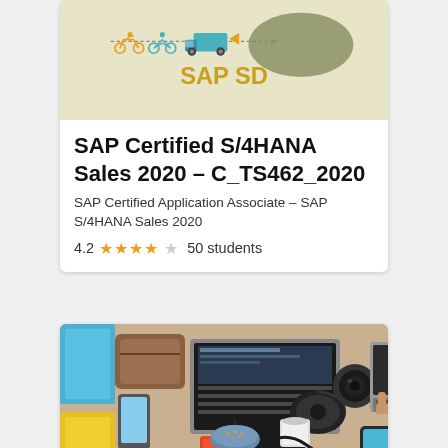[Figure (illustration): SAP SD course thumbnail with delivery vehicles, world map icons and SAP SD text in olive/yellow on beige background]
SAP Certified S/4HANA Sales 2020 – C_TS462_2020
SAP Certified Application Associate – SAP S/4HANA Sales 2020
4.2 ★★★★☆ 50 students
[Figure (photo): Overhead/top-down photo of people working on laptops at a desk with coffee, notebooks, phones and other items scattered around]